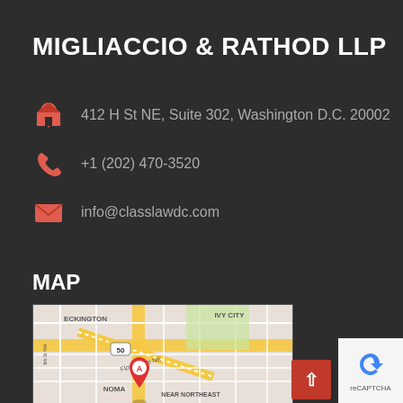MIGLIACCIO & RATHOD LLP
412 H St NE, Suite 302, Washington D.C. 20002
+1 (202) 470-3520
info@classlawdc.com
MAP
[Figure (map): Google Maps screenshot showing Eckington, Ivy City, NoMa, and Near Northeast neighborhoods in Washington D.C. with a red pin marker labeled A on Florida Ave NE near H St NE. Route 50 visible. Streets labeled include 6th St NW and Florida Ave NE.]